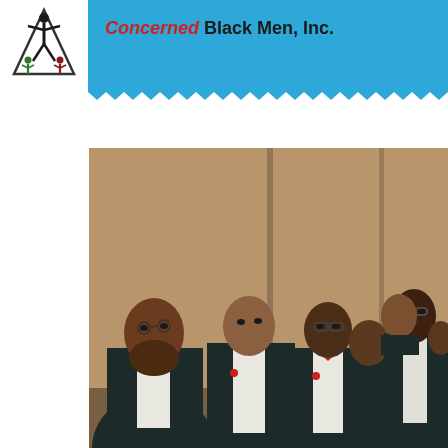[Figure (logo): Concerned Black Men Inc. logo: stylized black figure with smaller figures beneath, triangular design, on white background]
Concerned Black Men, Inc.
[Figure (photo): Group photo of several Black men in dark suits and red bow ties, posed together in a formal setting with a tan/brown wall behind them]